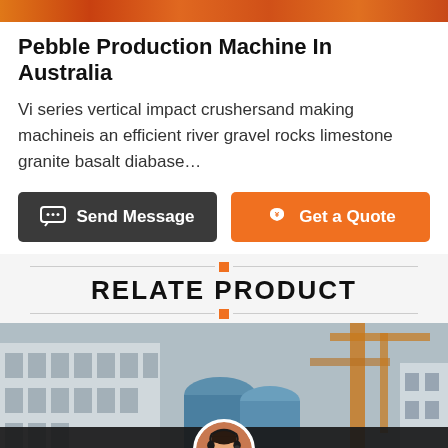[Figure (photo): Orange/red horizontal banner image at top of page]
Pebble Production Machine In Australia
Vi series vertical impact crushersand making machineis an efficient river gravel rocks limestone granite basalt diabase…
[Figure (infographic): Two buttons: dark 'Send Message' button on left and orange 'Get a Quote' button on right]
RELATE PRODUCT
[Figure (photo): Industrial machinery photo showing blue cylindrical equipment and industrial building in background]
Leave Message   Chat Online